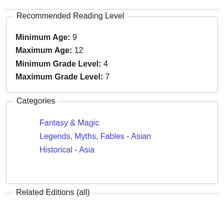Recommended Reading Level
Minimum Age: 9
Maximum Age: 12
Minimum Grade Level: 4
Maximum Grade Level: 7
Categories
Fantasy & Magic
Legends, Myths, Fables - Asian
Historical - Asia
Related Editions (all)